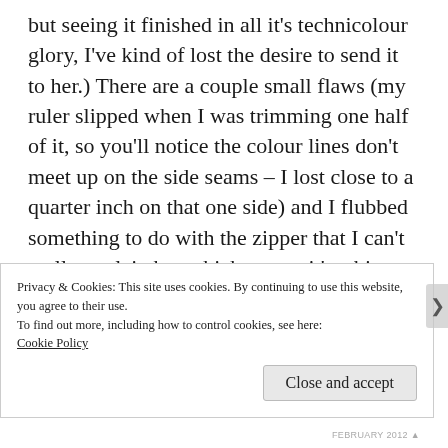but seeing it finished in all it's technicolour glory, I've kind of lost the desire to send it to her.) There are a couple small flaws (my ruler slipped when I was trimming one half of it, so you'll notice the colour lines don't meet up on the side seams – I lost close to a quarter inch on that one side) and I flubbed something to do with the zipper that I can't really explain but which means it's a bit lumpy near the opening of the zipper. (I pressed the fabric to one side, but should have opened the seam.) Anyway,
Privacy & Cookies: This site uses cookies. By continuing to use this website, you agree to their use.
To find out more, including how to control cookies, see here:
Cookie Policy
Close and accept